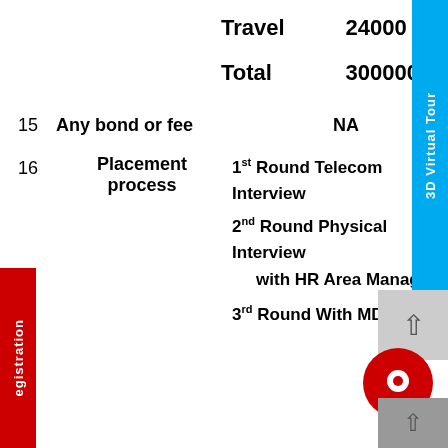| Travel | 24000 |
| Total | 300000 |
15   Any bond or fee   NA
16   Placement process   1st Round Telecom Interview
2nd Round Physical Interview with HR Area Manager
3rd Round With MD & CEO